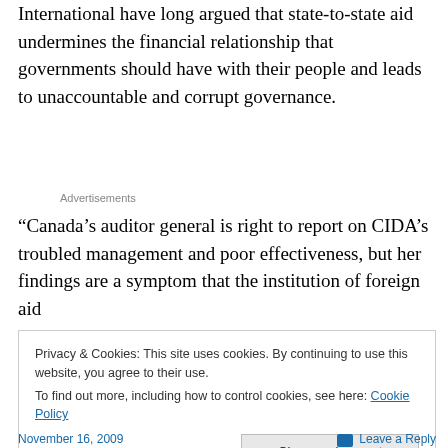International have long argued that state-to-state aid undermines the financial relationship that governments should have with their people and leads to unaccountable and corrupt governance.
Advertisements
“Canada’s auditor general is right to report on CIDA’s troubled management and poor effectiveness, but her findings are a symptom that the institution of foreign aid
Privacy & Cookies: This site uses cookies. By continuing to use this website, you agree to their use.
To find out more, including how to control cookies, see here: Cookie Policy
Close and accept
November 16, 2009    Leave a Reply